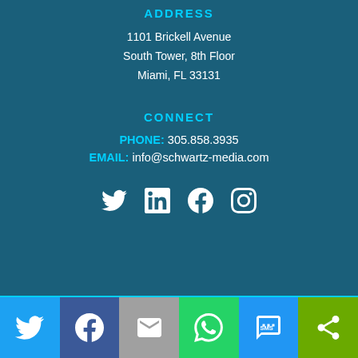ADDRESS
1101 Brickell Avenue
South Tower, 8th Floor
Miami, FL 33131
CONNECT
PHONE: 305.858.3935
EMAIL: info@schwartz-media.com
[Figure (infographic): Social media icons: Twitter, LinkedIn, Facebook, Instagram]
[Figure (infographic): Bottom sharing bar with Twitter, Facebook, Email, WhatsApp, SMS, and share icons]